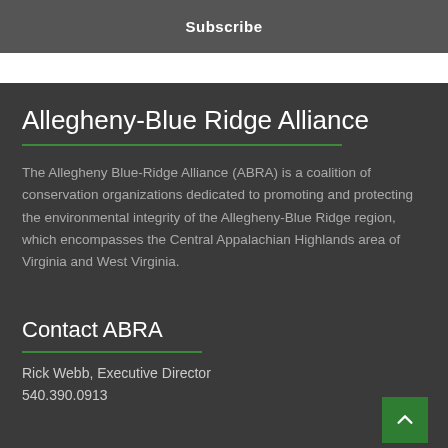Subscribe
Allegheny-Blue Ridge Alliance
The Allegheny Blue-Ridge Alliance (ABRA) is a coalition of conservation organizations dedicated to promoting and protecting the environmental integrity of the Allegheny-Blue Ridge region, which encompasses the Central Appalachian Highlands area of Virginia and West Virginia.
Contact ABRA
Rick Webb, Executive Director
540.390.0913